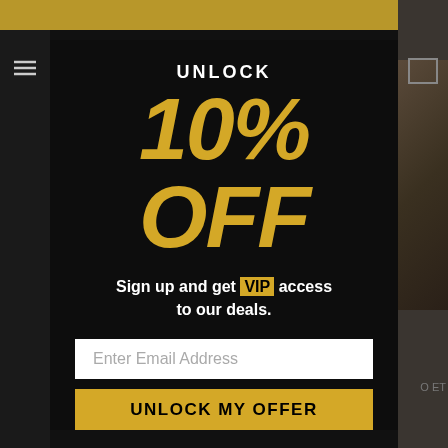[Figure (screenshot): Website background visible behind modal popup, showing dark navigation bar with hamburger menu icon on the left, golden header bar, and a product image partially visible on the right side.]
UNLOCK
10% OFF
Sign up and get VIP access to our deals.
Enter Email Address
UNLOCK MY OFFER